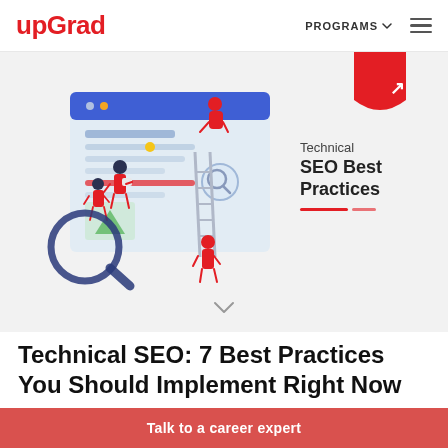upGrad  PROGRAMS ☰
[Figure (illustration): Hero banner showing isometric illustration of people working on a large browser/webpage interface with a magnifying glass, ladder, and search elements. Red shield badge in top right corner. Text overlay reads 'Technical SEO Best Practices' with red underline decoration. A down chevron arrow at the bottom center.]
Technical SEO: 7 Best Practices You Should Implement Right Now
Talk to a career expert